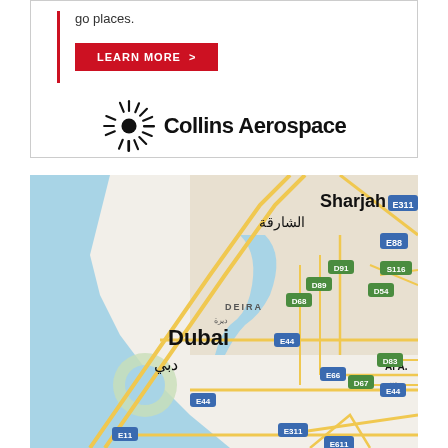go places.
[Figure (logo): Collins Aerospace logo with sunburst icon and company name]
[Figure (map): Google Map showing Dubai and Sharjah area in UAE with road labels E311, E88, D91, D89, S116, D54, D68, D83, E44, D67, E66, E311, E11, E611]